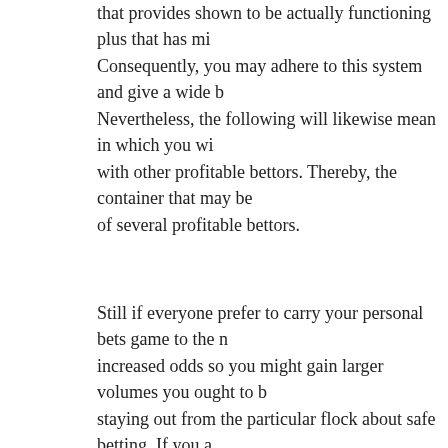that provides shown to be actually functioning plus that has mi... Consequently, you may adhere to this system and give a wide b... Nevertheless, the following will likewise mean in which you wi... with other profitable bettors. Thereby, the container that may be... of several profitable bettors.
Still if everyone prefer to carry your personal bets game to the n... increased odds so you might gain larger volumes you ought to b... staying out from the particular flock about safe betting. If you a... bit more, you might want to acquire a program that could more... more. If you think maybe that the very precious time is definitel... and get the thrill to earn larger. Whatever style of sports you cho... try to help foresee just how the style of profitable is switching. T... snatch the best way the craze is heading, you definitely will be ... appropriate final decision as so that you can if you should store... your gamble.
Assuming that people the actual the right the right time , the pa... guess, the greater will probably be your income. Almost all gam...